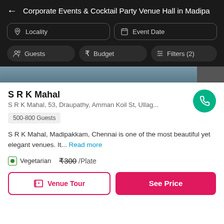← Corporate Events & Cocktail Party Venue Hall in Madipa
Locality | Event Date
Guests | Budget | Filters (2)
S R K Mahal
S R K Mahal, 53, Draupathy, Amman Koil St, Ullag...
500-800 Guests
S R K Mahal, Madipakkam, Chennai is one of the most beautiful yet elegant venues. It... Read more
Vegetarian   ₹300 /Plate
Venue Tour   See Price